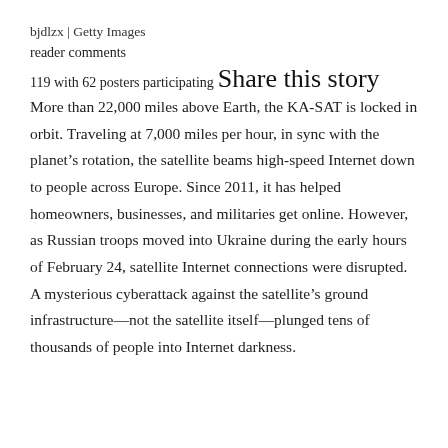bjdlzx | Getty Images
reader comments
119 with 62 posters participating
Share this story
More than 22,000 miles above Earth, the KA-SAT is locked in orbit. Traveling at 7,000 miles per hour, in sync with the planet’s rotation, the satellite beams high-speed Internet down to people across Europe. Since 2011, it has helped homeowners, businesses, and militaries get online. However, as Russian troops moved into Ukraine during the early hours of February 24, satellite Internet connections were disrupted. A mysterious cyberattack against the satellite’s ground infrastructure—not the satellite itself—plunged tens of thousands of people into Internet darkness.